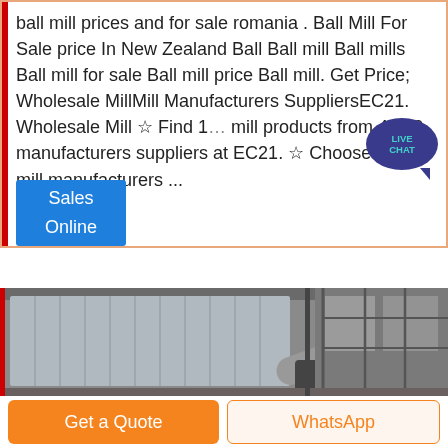ball mill prices and for sale romania . Ball Mill For Sale price In New Zealand Ball Ball mill Ball mills Ball mill for sale Ball mill price Ball mill. Get Price; Wholesale MillMill Manufacturers SuppliersEC21. Wholesale Mill ☆ Find 1… mill products from 4 850 manufacturers suppliers at EC21. ☆ Choose quality mill manufacturers ...
[Figure (other): Live Chat bubble icon — teal text on dark blue circular speech bubble]
Sales
Online
[Figure (photo): Industrial factory interior showing large metal dust collector / conveyor machinery equipment in a grey warehouse setting]
Get a Quote
WhatsApp